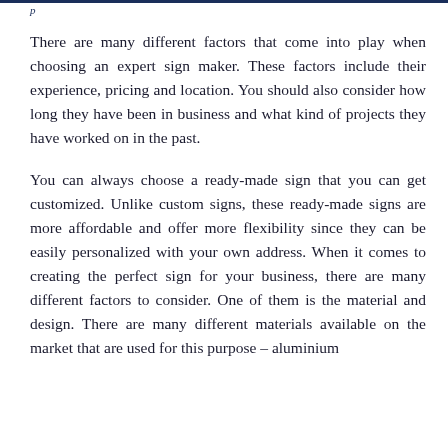p
There are many different factors that come into play when choosing an expert sign maker. These factors include their experience, pricing and location. You should also consider how long they have been in business and what kind of projects they have worked on in the past.
You can always choose a ready-made sign that you can get customized. Unlike custom signs, these ready-made signs are more affordable and offer more flexibility since they can be easily personalized with your own address. When it comes to creating the perfect sign for your business, there are many different factors to consider. One of them is the material and design. There are many different materials available on the market that are used for this purpose – aluminium